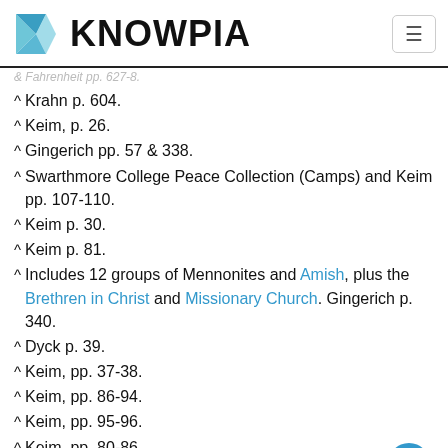KNOWPIA
Krahn p. 604.
Keim, p. 26.
Gingerich pp. 57 & 338.
Swarthmore College Peace Collection (Camps) and Keim pp. 107-110.
Keim p. 30.
Keim p. 81.
Includes 12 groups of Mennonites and Amish, plus the Brethren in Christ and Missionary Church. Gingerich p. 340.
Dyck p. 39.
Keim, pp. 37-38.
Keim, pp. 86-94.
Keim, pp. 95-96.
Keim, pp. 80-86.